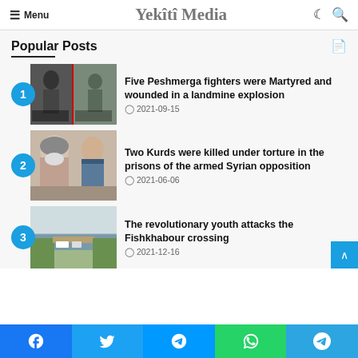Menu | Yekîtî Media
Popular Posts
Five Peshmerga fighters were Martyred and wounded in a landmine explosion — 2021-09-15
Two Kurds were killed under torture in the prisons of the armed Syrian opposition — 2021-06-06
The revolutionary youth attacks the Fishkhabour crossing — 2021-12-16
Facebook | Twitter | Messenger | WhatsApp | Telegram